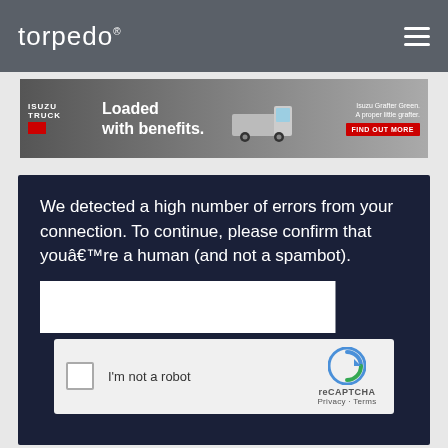torpedo®
[Figure (screenshot): Isuzu Truck advertisement banner: 'Loaded with benefits.' with truck image and FIND OUT MORE button]
We detected a high number of errors from your connection. To continue, please confirm that youâ€™re a human (and not a spambot).
[Figure (screenshot): reCAPTCHA widget with checkbox 'I'm not a robot' and reCAPTCHA branding with Privacy - Terms links]